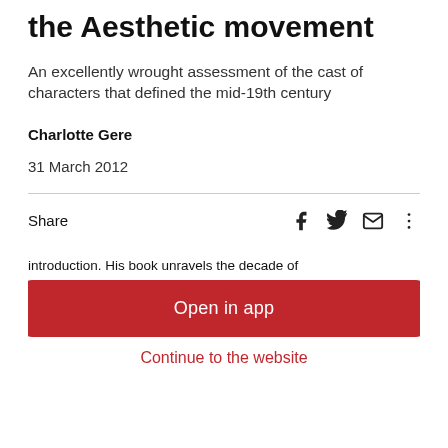the Aesthetic movement
An excellently wrought assessment of the cast of characters that defined the mid-19th century
Charlotte Gere
31 March 2012
Share
introduction. His book unravels the decade of artistic confusion, innovation and experimentation that followed the dispersal of the pre-Raphaelite
Open in app
Continue to the website